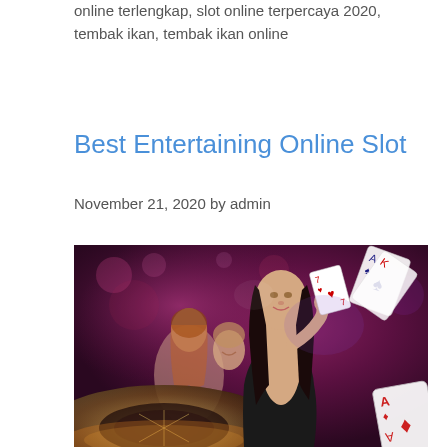online terlengkap, slot online terpercaya 2020, tembak ikan, tembak ikan online
Best Entertaining Online Slot
November 21, 2020 by admin
[Figure (photo): Casino scene with a woman in a black dress holding a playing card (7 of hearts) near a roulette table, with another woman smiling in the background and playing cards (Ace of diamonds) visible on the right side. Dark purple/magenta background with bokeh lights.]